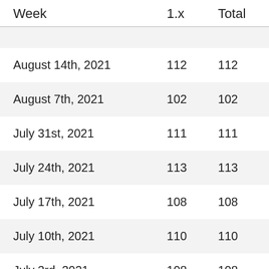| Week | 1.x | Total |
| --- | --- | --- |
|  |  |  |
| August 14th, 2021 | 112 | 112 |
| August 7th, 2021 | 102 | 102 |
| July 31st, 2021 | 111 | 111 |
| July 24th, 2021 | 113 | 113 |
| July 17th, 2021 | 108 | 108 |
| July 10th, 2021 | 110 | 110 |
| July 3rd, 2021 | 108 | 108 |